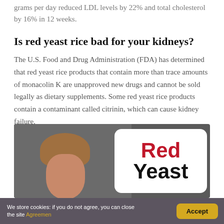grams per day reduced LDL levels by 22% and total cholesterol by 16% in 12 weeks.
Is red yeast rice bad for your kidneys?
The U.S. Food and Drug Administration (FDA) has determined that red yeast rice products that contain more than trace amounts of monacolin K are unapproved new drugs and cannot be sold legally as dietary supplements. Some red yeast rice products contain a contaminant called citrinin, which can cause kidney failure.
[Figure (photo): A person with curly hair next to a white card overlay showing the text 'Red Yeast' in bold, with Red in dark red and Yeast in black.]
We store cookies: if you do not agree, you can close the site Agreemen   Accept